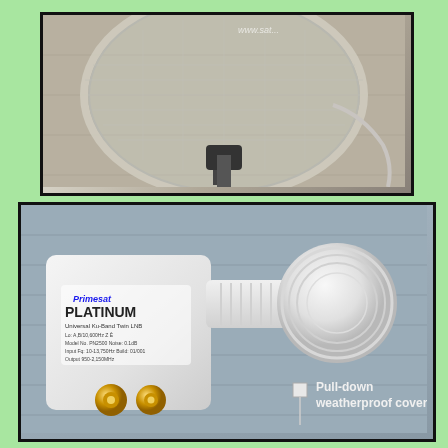[Figure (photo): Satellite dish mounted on a wall/pole, clear plastic/mesh dish with mounting hardware visible, watermark 'www.sat...' in upper right]
[Figure (photo): Primesat PLATINUM Universal Ku-Band Twin LNB device in white with gold F-connector outputs, pull-down weatherproof cover labeled on the round head end. Text on device reads: Primesat PLATINUM, Universal Ku-Band Twin LNB, Model No. PN2500. Callout label: 'Pull-down weatherproof cover' with white square indicator and line pointer.]